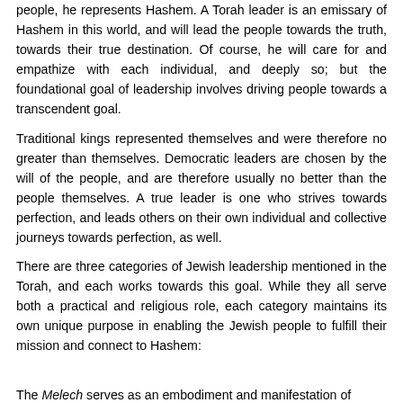people, he represents Hashem. A Torah leader is an emissary of Hashem in this world, and will lead the people towards the truth, towards their true destination. Of course, he will care for and empathize with each individual, and deeply so; but the foundational goal of leadership involves driving people towards a transcendent goal.
Traditional kings represented themselves and were therefore no greater than themselves. Democratic leaders are chosen by the will of the people, and are therefore usually no better than the people themselves. A true leader is one who strives towards perfection, and leads others on their own individual and collective journeys towards perfection, as well.
There are three categories of Jewish leadership mentioned in the Torah, and each works towards this goal. While they all serve both a practical and religious role, each category maintains its own unique purpose in enabling the Jewish people to fulfill their mission and connect to Hashem:
The Melech serves as an embodiment and manifestation of